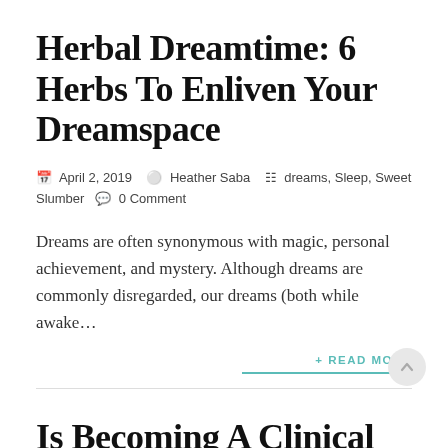Herbal Dreamtime: 6 Herbs To Enliven Your Dreamspace
April 2, 2019  Heather Saba  dreams, Sleep, Sweet Slumber  0 Comment
Dreams are often synonymous with magic, personal achievement, and mystery. Although dreams are commonly disregarded, our dreams (both while awake…
+ READ MORE
Is Becoming A Clinical